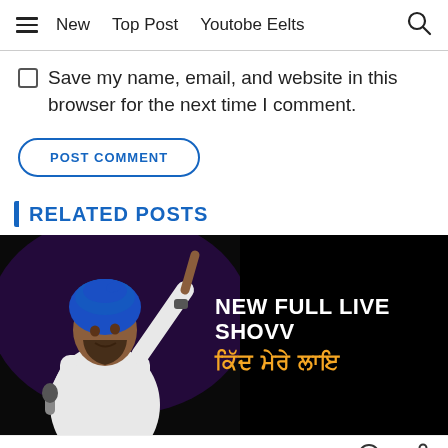New  Top Post  Youtobe Eelts
Save my name, email, and website in this browser for the next time I comment.
POST COMMENT
RELATED POSTS
[Figure (photo): A performer wearing a blue turban and white outfit, pointing upward with one hand and holding a microphone, on a dark stage. Text overlay reads 'NEW FULL LIVE SHOW' in white and Punjabi text in orange/yellow.]